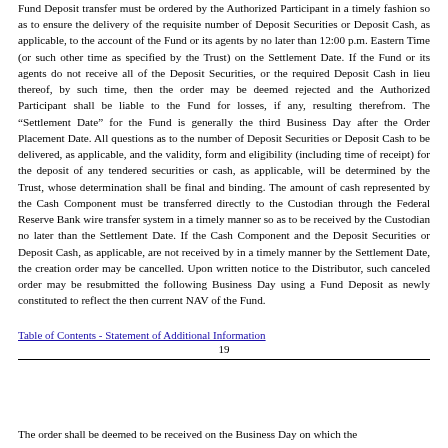Fund Deposit transfer must be ordered by the Authorized Participant in a timely fashion so as to ensure the delivery of the requisite number of Deposit Securities or Deposit Cash, as applicable, to the account of the Fund or its agents by no later than 12:00 p.m. Eastern Time (or such other time as specified by the Trust) on the Settlement Date. If the Fund or its agents do not receive all of the Deposit Securities, or the required Deposit Cash in lieu thereof, by such time, then the order may be deemed rejected and the Authorized Participant shall be liable to the Fund for losses, if any, resulting therefrom. The “Settlement Date” for the Fund is generally the third Business Day after the Order Placement Date. All questions as to the number of Deposit Securities or Deposit Cash to be delivered, as applicable, and the validity, form and eligibility (including time of receipt) for the deposit of any tendered securities or cash, as applicable, will be determined by the Trust, whose determination shall be final and binding. The amount of cash represented by the Cash Component must be transferred directly to the Custodian through the Federal Reserve Bank wire transfer system in a timely manner so as to be received by the Custodian no later than the Settlement Date. If the Cash Component and the Deposit Securities or Deposit Cash, as applicable, are not received by in a timely manner by the Settlement Date, the creation order may be cancelled. Upon written notice to the Distributor, such canceled order may be resubmitted the following Business Day using a Fund Deposit as newly constituted to reflect the then current NAV of the Fund.
Table of Contents - Statement of Additional Information
19
The order shall be deemed to be received on the Business Day on which the